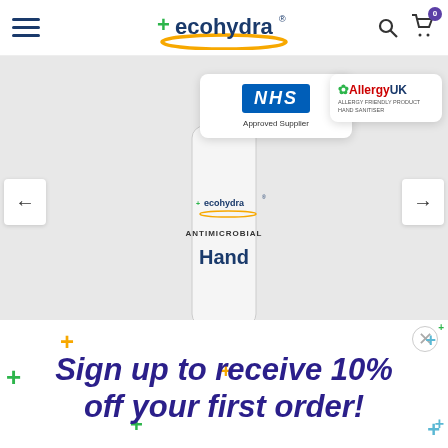ecohydra — navigation bar with hamburger menu, logo, search and cart icons
[Figure (screenshot): ecohydra product hero image showing hand sanitizer bottle with NHS Approved Supplier and AllergyUK badges, with left and right navigation arrows]
Sign up to receive 10% off your first order!
Email
Sign up